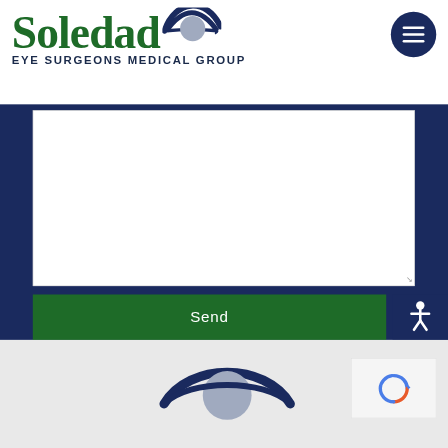[Figure (logo): Soledad Eye Surgeons Medical Group logo with eye icon and green text]
[Figure (other): Hamburger menu button (three horizontal bars on dark navy circle)]
[Figure (other): White textarea form field on navy background]
Send
[Figure (other): Wheelchair accessibility icon on navy background]
[Figure (other): Partial Soledad eye logo visible in footer area]
[Figure (other): reCAPTCHA widget partially visible]